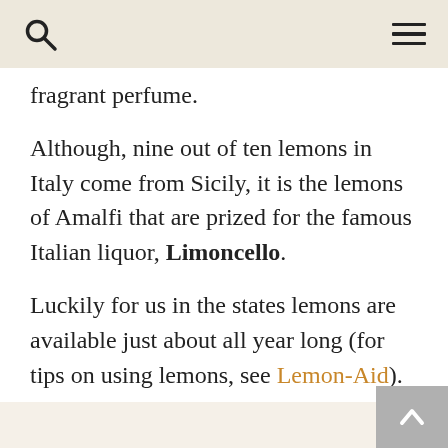fragrant perfume.
Although, nine out of ten lemons in Italy come from Sicily, it is the lemons of Amalfi that are prized for the famous Italian liquor, Limoncello.
Luckily for us in the states lemons are available just about all year long (for tips on using lemons, see Lemon-Aid).